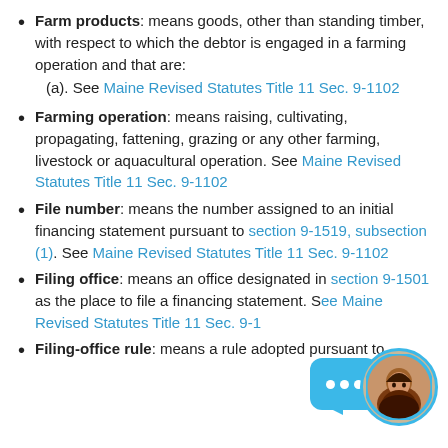Farm products: means goods, other than standing timber, with respect to which the debtor is engaged in a farming operation and that are:
(a). See Maine Revised Statutes Title 11 Sec. 9-1102
Farming operation: means raising, cultivating, propagating, fattening, grazing or any other farming, livestock or aquacultural operation. See Maine Revised Statutes Title 11 Sec. 9-1102
File number: means the number assigned to an initial financing statement pursuant to section 9-1519, subsection (1). See Maine Revised Statutes Title 11 Sec. 9-1102
Filing office: means an office designated in section 9-1501 as the place to file a financing statement. See Maine Revised Statutes Title 11 Sec. 9-1...
Filing-office rule: means a rule adopted pursuant to ...